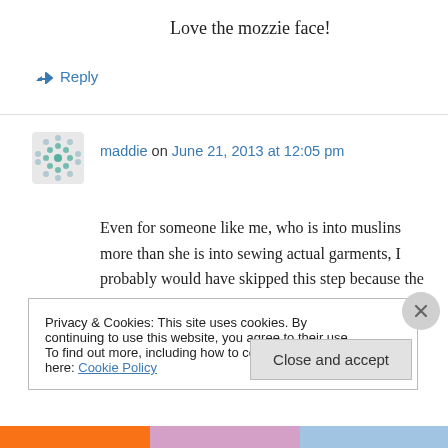Love the mozzie face!
↳ Reply
maddie on June 21, 2013 at 12:05 pm
Even for someone like me, who is into muslins more than she is into sewing actual garments, I probably would have skipped this step because the first pair of pants from the same company fit so well. Despite the fact that you made all the
Privacy & Cookies: This site uses cookies. By continuing to use this website, you agree to their use.
To find out more, including how to control cookies, see here: Cookie Policy
Close and accept